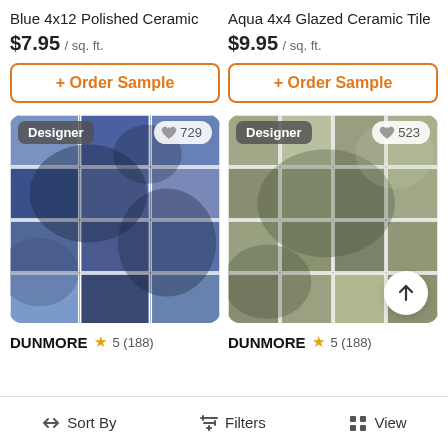Blue 4x12 Polished Ceramic
$7.95 / sq. ft.
+ Order Sample
Aqua 4x4 Glazed Ceramic Tile
$9.95 / sq. ft.
+ Order Sample
[Figure (photo): Blue 4x12 polished ceramic tile product photo with 'Designer' badge and 729 likes]
[Figure (photo): Aqua 4x4 glazed ceramic tile product photo with 'Designer' badge and 523 likes, with scroll-up arrow button]
DUNMORE ★ 5 (188)
DUNMORE ★ 5 (188)
↕ Sort By
⇌ Filters
⊞ View